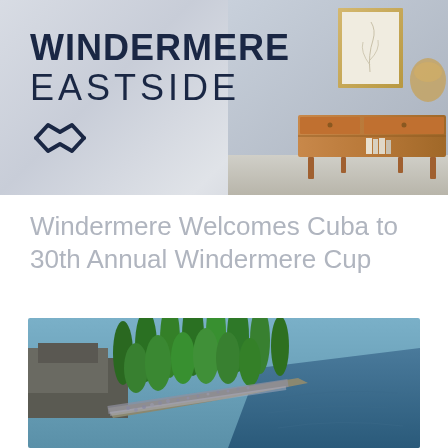[Figure (photo): Windermere Eastside hero banner with logo text WINDERMERE EASTSIDE and diamond logo icon on light grey background with furniture/interior decor on the right side]
Windermere Welcomes Cuba to 30th Annual Windermere Cup
[Figure (photo): Aerial photograph of a waterfront area with tall green trees lining a path along the water, with a crowd of people gathered and buildings visible]